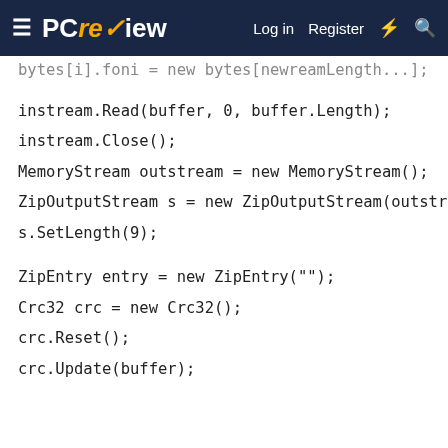PCre✓iew  Log in  Register
bytes[i].foni = new bytes[newreamLength...];
instream.Read(buffer, 0, buffer.Length);
instream.Close();
MemoryStream outstream = new MemoryStream();
ZipOutputStream s = new ZipOutputStream(outstream);
s.SetLength(9);
ZipEntry entry = new ZipEntry("");
Crc32 crc = new Crc32();
crc.Reset();
crc.Update(buffer);